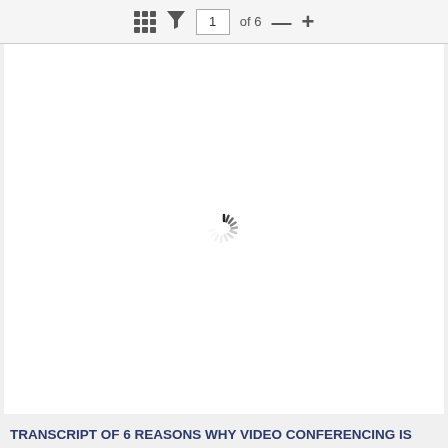1 of 6
[Figure (screenshot): Document viewer showing a loading spinner (spinning circle animation) on a white page background]
TRANSCRIPT OF 6 REASONS WHY VIDEO CONFERENCING IS REASONS WHY VIDEO CONFERENCING IS ESSENTIAL ... 6 REASONS WHY...